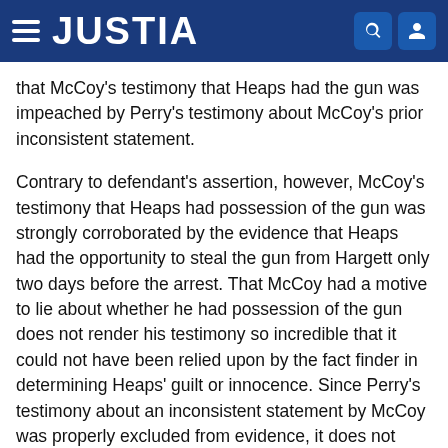JUSTIA
that McCoy's testimony that Heaps had the gun was impeached by Perry's testimony about McCoy's prior inconsistent statement.
Contrary to defendant's assertion, however, McCoy's testimony that Heaps had possession of the gun was strongly corroborated by the evidence that Heaps had the opportunity to steal the gun from Hargett only two days before the arrest. That McCoy had a motive to lie about whether he had possession of the gun does not render his testimony so incredible that it could not have been relied upon by the fact finder in determining Heaps' guilt or innocence. Since Perry's testimony about an inconsistent statement by McCoy was properly excluded from evidence, it does not impeach McCoy's testimony.
Affirmed